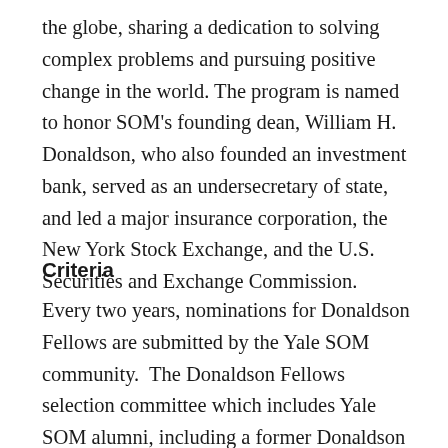the globe, sharing a dedication to solving complex problems and pursuing positive change in the world. The program is named to honor SOM's founding dean, William H. Donaldson, who also founded an investment bank, served as an undersecretary of state, and led a major insurance corporation, the New York Stock Exchange, and the U.S. Securities and Exchange Commission.
Criteria
Every two years, nominations for Donaldson Fellows are submitted by the Yale SOM community.  The Donaldson Fellows selection committee which includes Yale SOM alumni, including a former Donaldson Fellow, a Yale SOM student and members